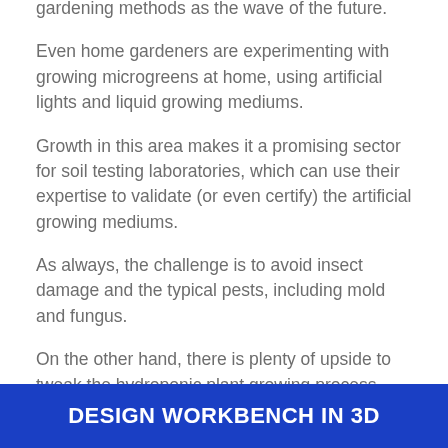gardening methods as the wave of the future.
Even home gardeners are experimenting with growing microgreens at home, using artificial lights and liquid growing mediums.
Growth in this area makes it a promising sector for soil testing laboratories, which can use their expertise to validate (or even certify) the artificial growing mediums.
As always, the challenge is to avoid insect damage and the typical pests, including mold and fungus.
On the other hand, there is plenty of upside to tweak the hydroponic plant growing process, either by developing new plant varieties that thrive in soil-less growing conditions as well as adding special
DESIGN WORKBENCH IN 3D